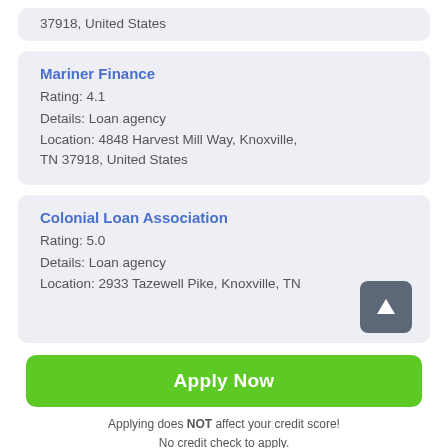37918, United States
Mariner Finance
Rating: 4.1
Details: Loan agency
Location: 4848 Harvest Mill Way, Knoxville, TN 37918, United States
Colonial Loan Association
Rating: 5.0
Details: Loan agency
Location: 2933 Tazewell Pike, Knoxville, TN
Apply Now
Applying does NOT affect your credit score!
No credit check to apply.